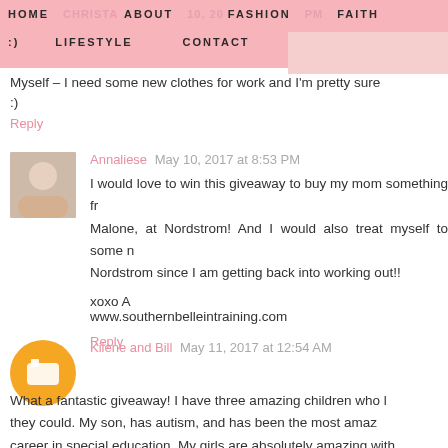HOME  ABOUT  FASHION  FAITH  LIFESTYLE  CONTACT  SHOP
Myself – I need some new clothes for work and I'm pretty sure :)
Reply
Annaliese  May 10, 2017 at 8:53 PM
I would love to win this giveaway to buy my mom something fr... Malone, at Nordstrom! And I would also treat myself to some n... Nordstrom since I am getting back into working out!!
xoxo A
www.southernbelleintraining.com
Reply
Kilene and Bill  May 11, 2017 at 12:54 AM
What a fantastic giveaway! I have three amazing children who l... they could. My son, has autism, and has been the most amaz... career in special education. My girls are absolutely amazing with ... journey was one that we weren't expecting to be one, we would... made our whole family stronger! I would love to have this gift...